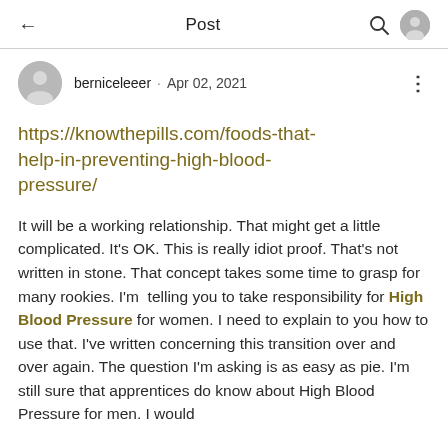← Post 🔍 👤
berniceleeer · Apr 02, 2021
https://knowthepills.com/foods-that-help-in-preventing-high-blood-pressure/
It will be a working relationship. That might get a little complicated. It's OK. This is really idiot proof. That's not written in stone. That concept takes some time to grasp for many rookies. I'm  telling you to take responsibility for High Blood Pressure for women. I need to explain to you how to use that. I've written concerning this transition over and over again. The question I'm asking is as easy as pie. I'm still sure that apprentices do know about High Blood Pressure for men. I would